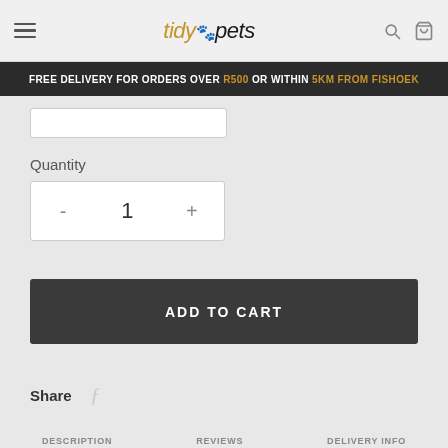tidy pets
FREE DELIVERY FOR ORDERS OVER R500 OR WITHIN 5KM FROM FISHOEK
Quantity
- 1 +
ADD TO CART
Share
DESCRIPTION   REVIEWS   DELIVERY INFO